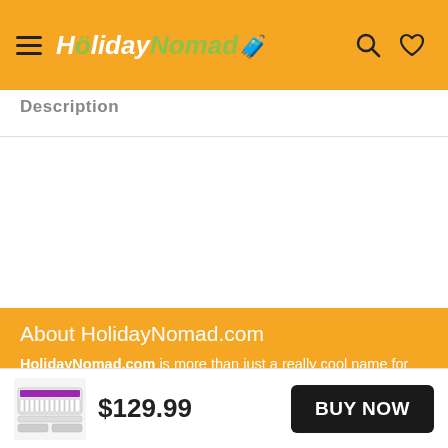HolidayNomad (header navigation bar with hamburger menu, logo, search and heart icons)
Description
About HolidayNomad.com
HolidayNomad.com is more than just a really cool name for
[Figure (screenshot): Product thumbnail image of a keyboard/piano roll-up item]
$129.99
BUY NOW